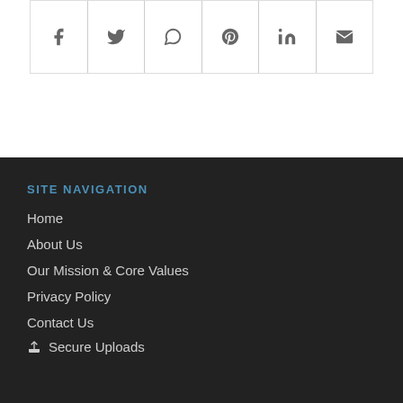[Figure (infographic): Social sharing bar with icons for Facebook, Twitter, WhatsApp, Pinterest, LinkedIn, and Email arranged in a horizontal row with borders]
SITE NAVIGATION
Home
About Us
Our Mission & Core Values
Privacy Policy
Contact Us
Secure Uploads